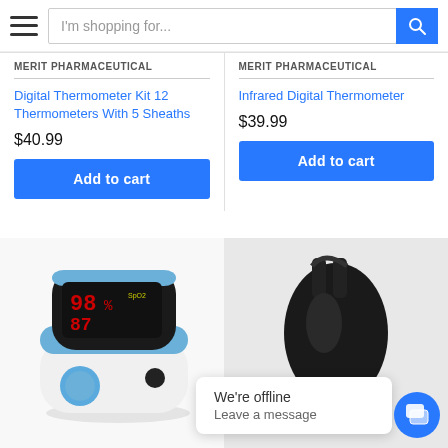I'm shopping for...
MERIT PHARMACEUTICAL
MERIT PHARMACEUTICAL
Digital Thermometer Kit 12 Thermometers With 5 Sheaths
$40.99
Add to cart
Infrared Digital Thermometer
$39.99
Add to cart
[Figure (photo): Pulse oximeter device with blue trim and LED display showing red digits, with a blue button on the front]
[Figure (photo): Partial view of a black medical device with clip attachments on a white background]
We're offline
Leave a message